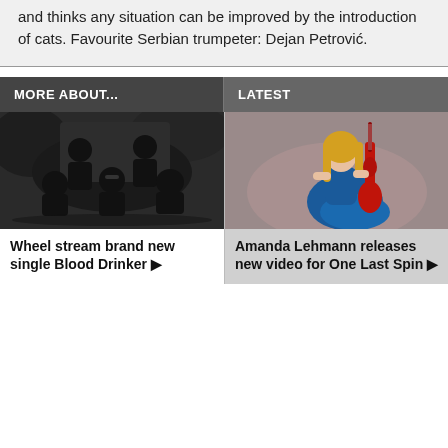and thinks any situation can be improved by the introduction of cats. Favourite Serbian trumpeter: Dejan Petrović.
MORE ABOUT...
LATEST
[Figure (photo): Black and white photo of a rock band with four members posing outdoors]
Wheel stream brand new single Blood Drinker ▶
[Figure (photo): Color photo of a blonde woman in a blue dress sitting and holding a red electric guitar]
Amanda Lehmann releases new video for One Last Spin ▶